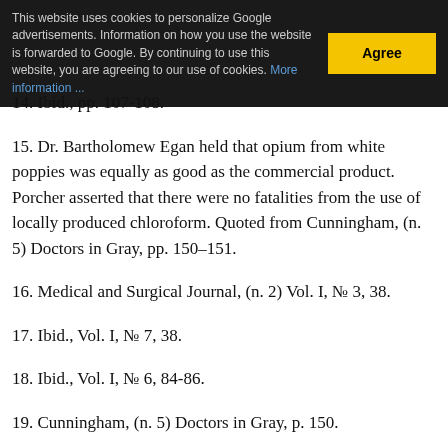This website uses cookies to personalize Google advertisements. Information on how you use the website is forwarded to Google. By continuing to use this website, you are agreeing to our use of cookies. More information ...
14. Ibid., pp. 107-108.
15. Dr. Bartholomew Egan held that opium from white poppies was equally as good as the commercial product. Porcher asserted that there were no fatalities from the use of locally produced chloroform. Quoted from Cunningham, (n. 5) Doctors in Gray, pp. 150–151.
16. Medical and Surgical Journal, (n. 2) Vol. I, № 3, 38.
17. Ibid., Vol. I, № 7, 38.
18. Ibid., Vol. I, № 6, 84-86.
19. Cunningham, (n. 5) Doctors in Gray, p. 150.